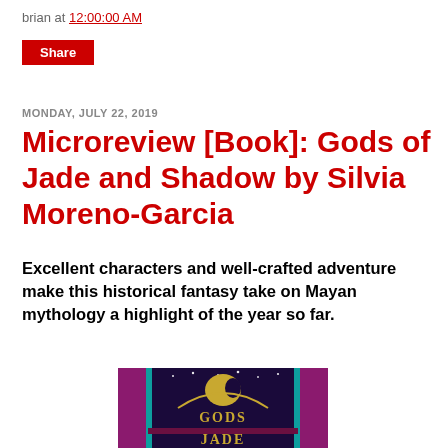brian at 12:00:00 AM
Share
MONDAY, JULY 22, 2019
Microreview [Book]: Gods of Jade and Shadow by Silvia Moreno-Garcia
Excellent characters and well-crafted adventure make this historical fantasy take on Mayan mythology a highlight of the year so far.
[Figure (illustration): Book cover for 'Gods of Jade and Shadow' showing an Art Deco style illustration with a woman's profile against a starry night sky, with the book title in decorative yellow letters on a deep purple and teal background.]